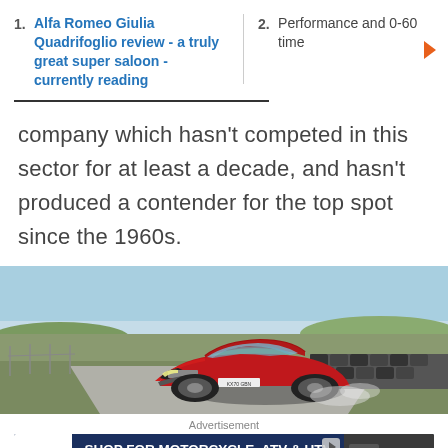1. Alfa Romeo Giulia Quadrifoglio review - a truly great super saloon - currently reading
2. Performance and 0-60 time
company which hasn't competed in this sector for at least a decade, and hasn't produced a contender for the top spot since the 1960s.
[Figure (photo): Red Alfa Romeo Giulia Quadrifoglio driving on a race track with tire barriers in background]
Advertisement
[Figure (infographic): PSE advertisement banner: SHOP FOR MOTORCYCLE, ATV & UTV PARTS, AND MORE. SHOP NOW button, with motorcycle parts image on the right.]